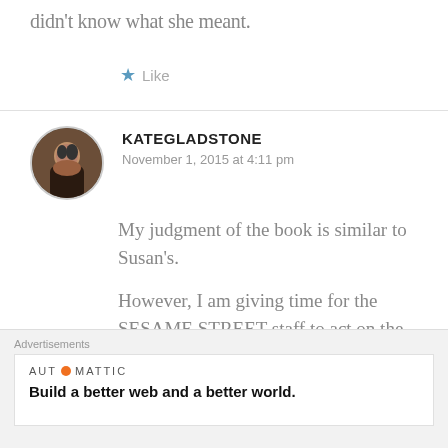didn't know what she meant.
Like
KATEGLADSTONE
November 1, 2015 at 4:11 pm
My judgment of the book is similar to Susan's.
However, I am giving time for the SESAME STREET staff to act on the written promise of their vice-
Advertisements
[Figure (logo): Automattic logo and tagline: Build a better web and a better world.]